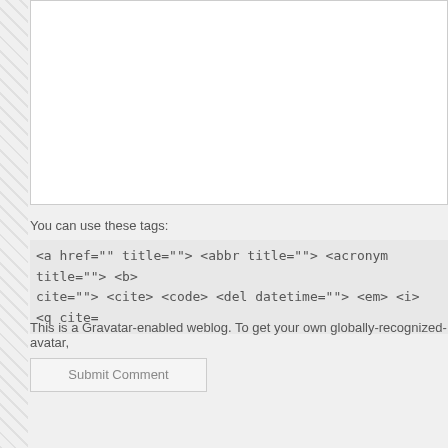You can use these tags:
<a href="" title=""> <abbr title=""> <acronym title=""> <b> cite=""> <cite> <code> <del datetime=""> <em> <i> <q cite=
This is a Gravatar-enabled weblog. To get your own globally-recognized-avatar,